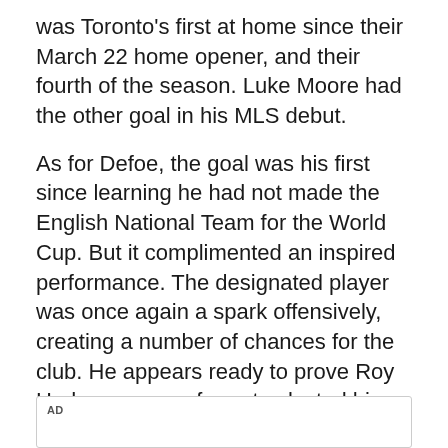was Toronto's first at home since their March 22 home opener, and their fourth of the season. Luke Moore had the other goal in his MLS debut.
As for Defoe, the goal was his first since learning he had not made the English National Team for the World Cup. But it complimented an inspired performance. The designated player was once again a spark offensively, creating a number of chances for the club. He appears ready to prove Roy Hodgson wrong for not selected him as part of the England 23.
"It's only normal when you get disappointment to try and prove people wrong," said Defoe of his performance.
AD